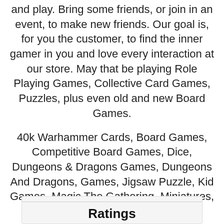and play. Bring some friends, or join in an event, to make new friends. Our goal is, for you the customer, to find the inner gamer in you and love every interaction at our store. May that be playing Role Playing Games, Collective Card Games, Puzzles, plus even old and new Board Games.
40k Warhammer Cards, Board Games, Competitive Board Games, Dice, Dungeons & Dragons Games, Dungeons And Dragons, Games, Jigsaw Puzzle, Kid Games, Magic The Gathering, Miniatures, Pathfinder, Playing Cards, Pokemon Cards, Puzzles, Role Playing Games
Tabletop Games, Trading Cards, YuGi Oh Cards,Yu Gi Oh Duel Links, Magic Cards, Dragon Shield, B and B, Hero Clix, Dragon Ball Cards, Snack and Games, A1ranking
Ratings